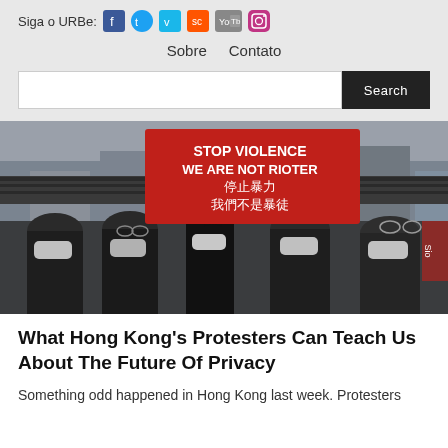Siga o URBe:
Sobre   Contato
[Figure (screenshot): Search bar with text input field and dark Search button]
[Figure (photo): Protesters in Hong Kong wearing masks, one holding a red banner reading: STOP VIOLENCE WE ARE NOT RIOTER / 停止暴力 / 我們不是暴徒]
What Hong Kong's Protesters Can Teach Us About The Future Of Privacy
Something odd happened in Hong Kong last week. Protesters